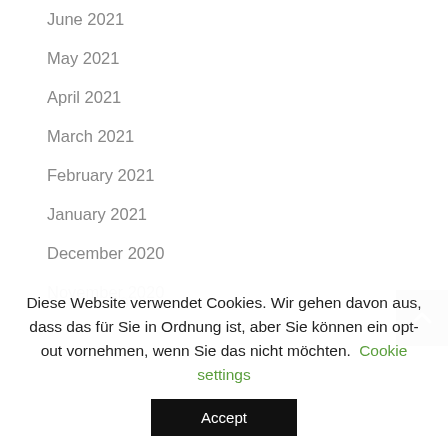June 2021
May 2021
April 2021
March 2021
February 2021
January 2021
December 2020
November 2020
October 2020 (partial, cut off)
Diese Website verwendet Cookies. Wir gehen davon aus, dass das für Sie in Ordnung ist, aber Sie können ein opt-out vornehmen, wenn Sie das nicht möchten. Cookie settings
Accept